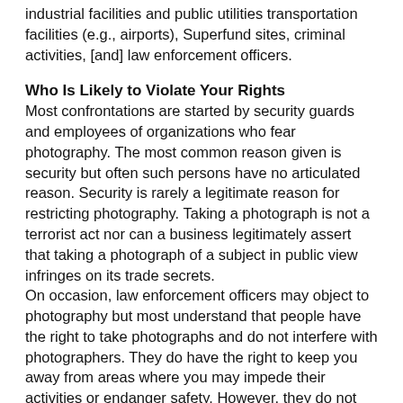industrial facilities and public utilities transportation facilities (e.g., airports), Superfund sites, criminal activities, [and] law enforcement officers.
Who Is Likely to Violate Your Rights
Most confrontations are started by security guards and employees of organizations who fear photography. The most common reason given is security but often such persons have no articulated reason. Security is rarely a legitimate reason for restricting photography. Taking a photograph is not a terrorist act nor can a business legitimately assert that taking a photograph of a subject in public view infringes on its trade secrets.
On occasion, law enforcement officers may object to photography but most understand that people have the right to take photographs and do not interfere with photographers. They do have the right to keep you away from areas where you may impede their activities or endanger safety. However, they do not have the legal right to prohibit you from taking photographs from other locations.
They Have Limited Rights to Bother, Question, or Detain You